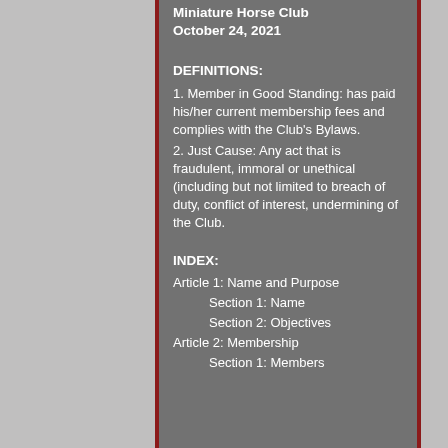Miniature Horse Club
October 24, 2021
DEFINITIONS:
1. Member in Good Standing: has paid his/her current membership fees and complies with the Club’s Bylaws.
2. Just Cause: Any act that is fraudulent, immoral or unethical (including but not limited to breach of duty, conflict of interest, undermining of the Club.
INDEX:
Article 1: Name and Purpose
Section 1: Name
Section 2: Objectives
Article 2: Membership
Section 1: Members